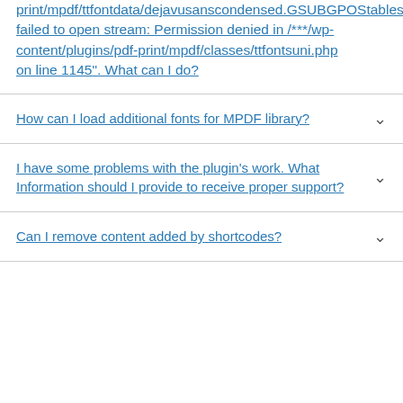print/mpdf/ttfontdata/dejavusanscondensed.GSUBGPOStables.dat): failed to open stream: Permission denied in /***/wp-content/plugins/pdf-print/mpdf/classes/ttfontsuni.php on line 1145". What can I do?
How can I load additional fonts for MPDF library?
I have some problems with the plugin's work. What Information should I provide to receive proper support?
Can I remove content added by shortcodes?